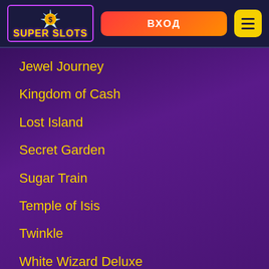[Figure (logo): Super Slots casino logo with purple border, yellow text, and dollar sign star graphic]
ВХОД
Jewel Journey
Kingdom of Cash
Lost Island
Secret Garden
Sugar Train
Temple of Isis
Twinkle
White Wizard Deluxe
Aztec Rising